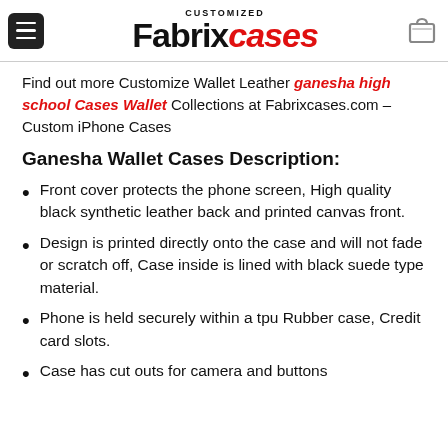CUSTOMIZED Fabrixcases
Find out more Customize Wallet Leather ganesha high school Cases Wallet Collections at Fabrixcases.com – Custom iPhone Cases
Ganesha Wallet Cases Description:
Front cover protects the phone screen, High quality black synthetic leather back and printed canvas front.
Design is printed directly onto the case and will not fade or scratch off, Case inside is lined with black suede type material.
Phone is held securely within a tpu Rubber case, Credit card slots.
Case has cut outs for camera and buttons